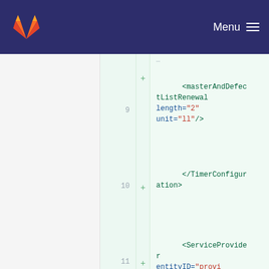GitLab — Menu
[Figure (screenshot): GitLab diff view showing XML code additions with line numbers 9-13. Lines show XML elements: masterAndDefectListRenewal with length and unit attributes, /TimerConfiguration closing tag, ServiceProvider element with entityID and enabled attributes, EPAConnectorConfiguration element with updateCVC attribute, and the start of another element on line 13.]